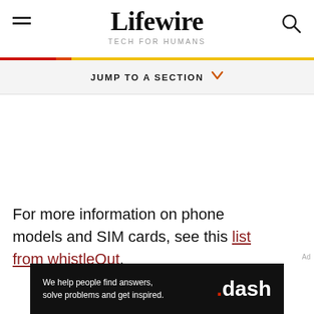Lifewire TECH FOR HUMANS
JUMP TO A SECTION
For more information on phone models and SIM cards, see this list from whistleOut.
[Figure (other): Advertisement banner: We help people find answers, solve problems and get inspired. .dash]
Ad